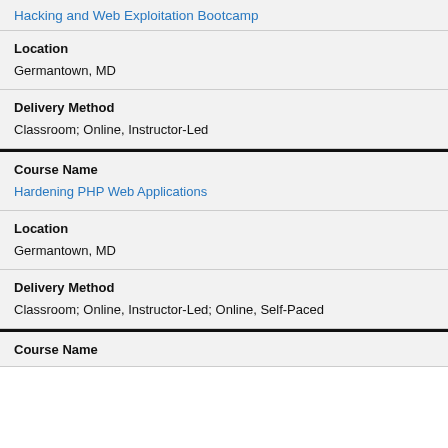Hacking and Web Exploitation Bootcamp
Location
Germantown, MD
Delivery Method
Classroom; Online, Instructor-Led
Course Name
Hardening PHP Web Applications
Location
Germantown, MD
Delivery Method
Classroom; Online, Instructor-Led; Online, Self-Paced
Course Name